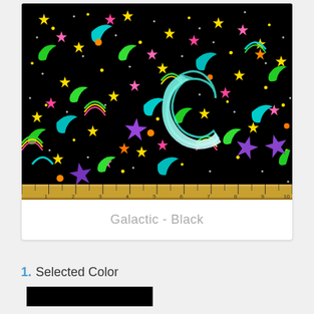[Figure (photo): A colorful fabric swatch featuring a galactic/space pattern on black background with stars, moons, rainbows in neon colors (yellow, pink, green, teal, purple, orange). A ruler along the bottom shows measurements 1-10. A teal cricut logo/letter C watermark is overlaid in the center.]
Galactic - Black
1. Selected Color
[Figure (other): Black color swatch rectangle]